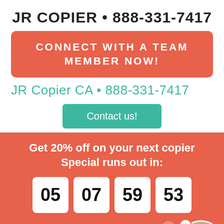JR COPIER • 888-331-7417
CONNECT WITH A TEAM MEMBER NOW!
JR Copier CA • 888-331-7417
Contact us!
Get 20% off on your next copier Special runs out in:
05  07  59  53
How can we help you?